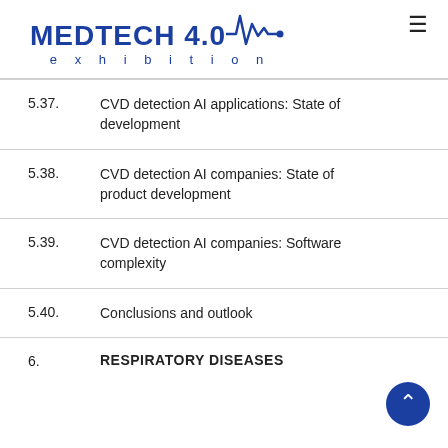MEDTECH 4.0 exhibition
5.37. CVD detection AI applications: State of development
5.38. CVD detection AI companies: State of product development
5.39. CVD detection AI companies: Software complexity
5.40. Conclusions and outlook
6. RESPIRATORY DISEASES